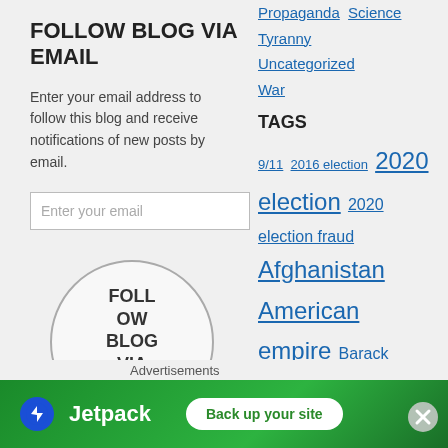FOLLOW BLOG VIA EMAIL
Enter your email address to follow this blog and receive notifications of new posts by email.
Enter your email
[Figure (other): Circle button labeled FOLLOW BLOG VIA EMAIL]
Propaganda  Science  Tyranny  Uncategorized  War
TAGS
9/11  2016 election  2020 election  2020 election fraud  Afghanistan  American empire  Barack Obama  Biden administration  Brexit  California  central bank
Advertisements
[Figure (other): Jetpack advertisement banner with Back up your site button]